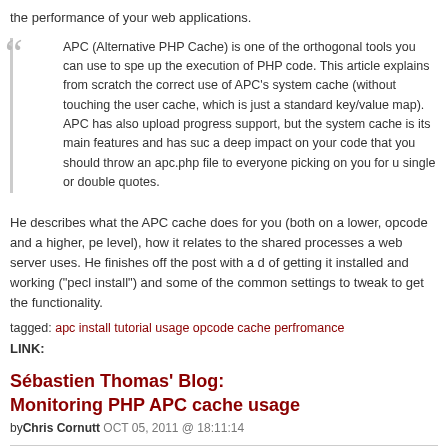the performance of your web applications.
APC (Alternative PHP Cache) is one of the orthogonal tools you can use to speed up the execution of PHP code. This article explains from scratch the correct use of APC's system cache (without touching the user cache, which is just a standard key/value map). APC has also user cache and upload progress support, but the system cache is its main features and has such a deep impact on your code that you should throw an apc.php file to everyone picking on you for using single or double quotes.
He describes what the APC cache does for you (both on a lower, opcode and a higher, performance level), how it relates to the shared processes a web server uses. He finishes off the post with a description of getting it installed and working ("pecl install") and some of the common settings to tweak to get the most out of its functionality.
tagged: apc install tutorial usage opcode cache perfromance
LINK:
Sébastien Thomas' Blog: Monitoring PHP APC cache usage
byChris Cornutt OCT 05, 2011 @ 18:11:14
Sébastien Thomas has a recent post to his blog shows how (with just a bit of code) you can monitor cache usage on your local host.